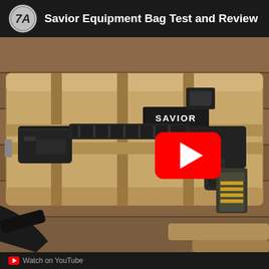Savior Equipment Bag Test and Review
[Figure (screenshot): YouTube video thumbnail showing a tan/khaki tactical rifle bag (Savior brand) with a black AR-style pistol/rifle laid on top of it, placed on a wooden surface. A red YouTube play button is overlaid in the center of the image.]
Watch on YouTube